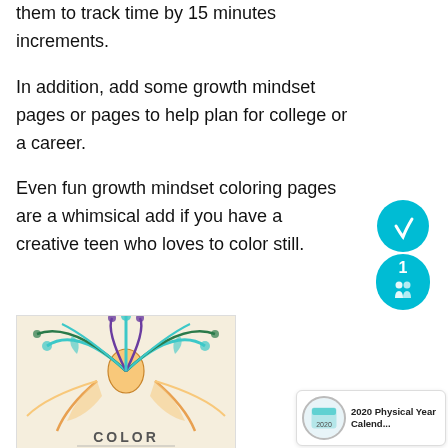them to track time by 15 minutes increments.
In addition, add some growth mindset pages or pages to help plan for college or a career.
Even fun growth mindset coloring pages are a whimsical add if you have a creative teen who loves to color still.
[Figure (illustration): Colorful mandala-style coloring page illustration with decorative swirls and text 'COLOR' at the bottom]
[Figure (other): Pinterest save button widget with teal circle icon and number 1]
[Figure (other): Pinterest card thumbnail showing '2020 Physical Year Calend...']